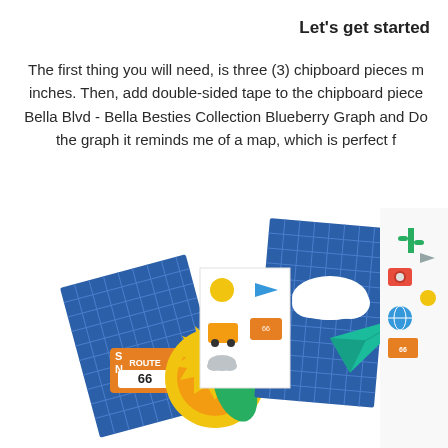Let's get started
The first thing you will need, is three (3) chipboard pieces measuring 4x6 inches. Then, add double-sided tape to the chipboard pieces and add your Bella Blvd - Bella Besties Collection Blueberry Graph and Do paper. I love the graph it reminds me of a map, which is perfect f...
[Figure (illustration): Colorful craft supplies and travel-themed scrapbooking materials including blue graph paper chipboard pieces, stickers with travel icons (sun, airplane, globe, cactus, camera, bus), yellow sun shape, cloud cutout, teal paper airplane, and route 66 sign elements arranged in a collage.]